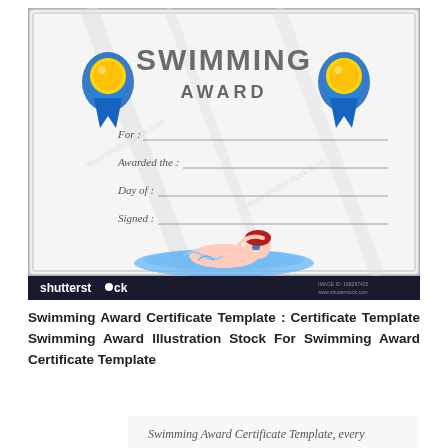[Figure (illustration): Swimming Award Certificate Template illustration from Shutterstock. Certificate with silver border, two blue ribbon award medals with gold centers on left and right, large text 'SWIMMING AWARD' at top, fill-in lines for For, Awarded the, Day of, Signed, and a cartoon boy swimming at the bottom. Shutterstock watermark and logo bar at bottom.]
Swimming Award Certificate Template : Certificate Template Swimming Award Illustration Stock For Swimming Award Certificate Template